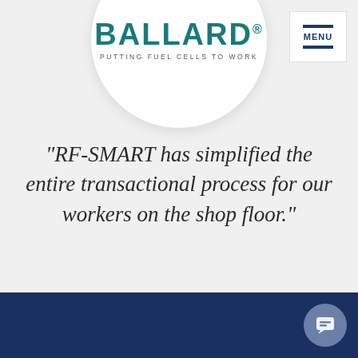[Figure (logo): Ballard Power Systems logo — circular white badge with teal BALLARD wordmark and tagline PUTTING FUEL CELLS TO WORK]
[Figure (other): MENU navigation button with two dark blue horizontal bars]
“RF-SMART has simplified the entire transactional process for our workers on the shop floor.”
Read how Ballard was brought efficiency and convenience to their operations.
[Figure (other): Dark navy blue footer bar with a chat bubble icon in the bottom-right corner]